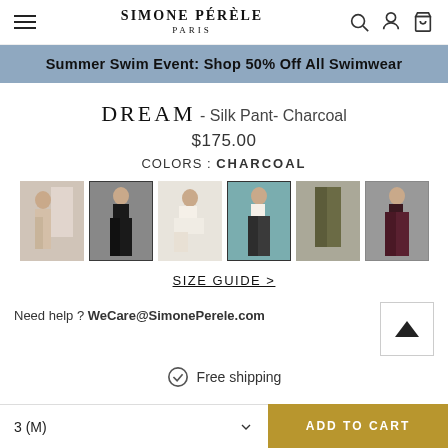SIMONE PÉRÈLE PARIS
Summer Swim Event: Shop 50% Off All Swimwear
DREAM - Silk Pant- Charcoal
$175.00
COLORS : CHARCOAL
[Figure (photo): Six product thumbnail images of silk pants in various colors including beige, black, white/cream, charcoal, olive, and burgundy]
SIZE GUIDE >
Need help ? WeCare@SimonePerele.com
Free shipping
3 (M)
ADD TO CART